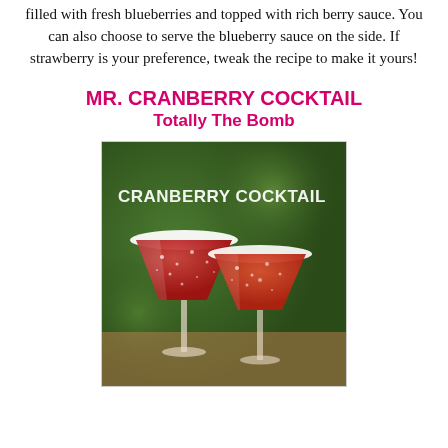filled with fresh blueberries and topped with rich berry sauce. You can also choose to serve the blueberry sauce on the side. If strawberry is your preference, tweak the recipe to make it yours!
MR. CRANBERRY COCKTAIL
Totally The Bomb
[Figure (photo): Photo of two cranberry cocktails in martini glasses with white rims, filled with red liquid and small white dots, on a blurred green background. Text overlay reads 'CRANBERRY COCKTAIL'.]